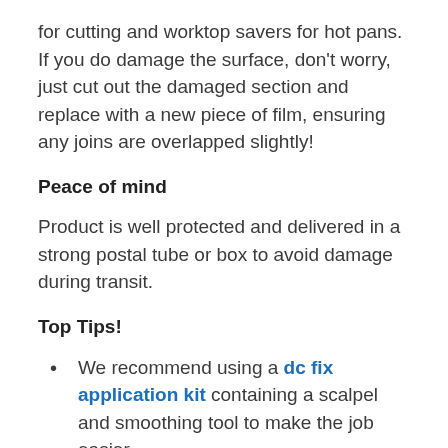for cutting and worktop savers for hot pans. If you do damage the surface, don't worry, just cut out the damaged section and replace with a new piece of film, ensuring any joins are overlapped slightly!
Peace of mind
Product is well protected and delivered in a strong postal tube or box to avoid damage during transit.
Top Tips!
We recommend using a dc fix application kit containing a scalpel and smoothing tool to make the job easier